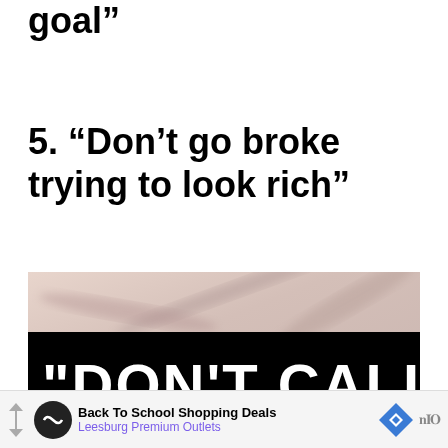goal”
5. “Don’t go broke trying to look rich”
[Figure (photo): Blurred pinkish-beige background with a large black banner overlaid reading: "DON'T CALL IT]
Back To School Shopping Deals
Leesburg Premium Outlets